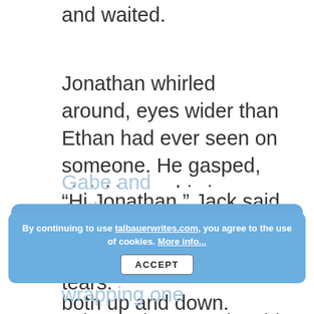and waited.
Jonathan whirled around, eyes wider than Ethan had ever seen on someone. He gasped, shrieking as his jaw dropped, and clapped his hands over his mouth. He looked them both up and down.
“Hi Jonathan,” Jack said. “It’s so great to meet you.”
Jonathan burst into tears.
Gabe and Anderson ... side of Jonathan, both wrapping one ...
By continuing to use talbauerwrites.com, you agree to the use of cookies. More info...